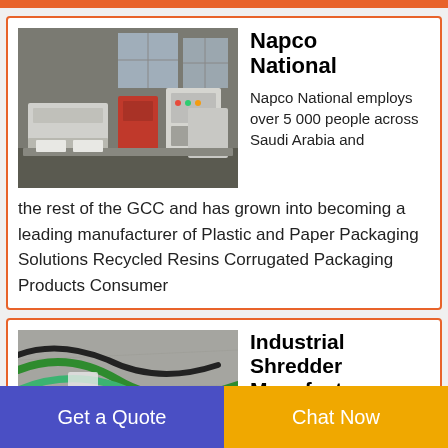[Figure (photo): Industrial plastic/paper recycling machine in a factory warehouse setting, white and red machinery]
Napco National
Napco National employs over 5 000 people across Saudi Arabia and the rest of the GCC and has grown into becoming a leading manufacturer of Plastic and Paper Packaging Solutions Recycled Resins Corrugated Packaging Products Consumer
[Figure (photo): Green and black cables/wires on a concrete surface]
Industrial Shredder Manufacturer
Get a Quote
Chat Now